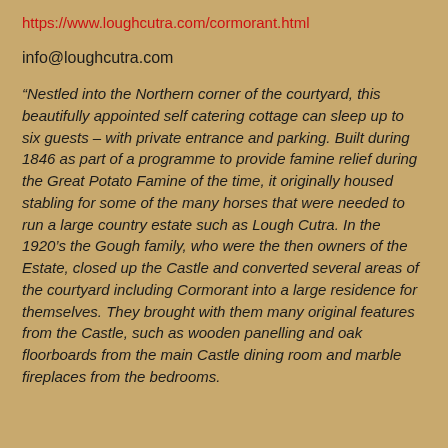https://www.loughcutra.com/cormorant.html
info@loughcutra.com
“Nestled into the Northern corner of the courtyard, this beautifully appointed self catering cottage can sleep up to six guests – with private entrance and parking. Built during 1846 as part of a programme to provide famine relief during the Great Potato Famine of the time, it originally housed stabling for some of the many horses that were needed to run a large country estate such as Lough Cutra. In the 1920’s the Gough family, who were the then owners of the Estate, closed up the Castle and converted several areas of the courtyard including Cormorant into a large residence for themselves. They brought with them many original features from the Castle, such as wooden panelling and oak floorboards from the main Castle dining room and marble fireplaces from the bedrooms.